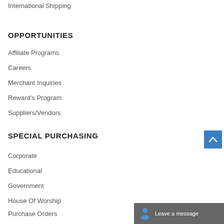International Shipping
OPPORTUNITIES
Affiliate Programs
Careers
Merchant Inquiries
Reward's Program
Suppliers/Vendors
SPECIAL PURCHASING
Corporate
Educational
Government
House Of Worship
Purchase Orders
[Figure (other): Scroll to top button - blue square with white upward arrow]
[Figure (other): Live chat bar showing person icon and 'Leave a message' text on dark gray background]